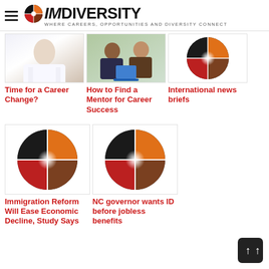IMdiversity – Where Careers, Opportunities and Diversity Connect
[Figure (photo): Close-up photo of a person in a white coat, medical/professional setting]
Time for a Career Change?
[Figure (photo): Two people sitting at a table, one appears to be mentoring the other, with a laptop open]
How to Find a Mentor for Career Success
[Figure (logo): IMdiversity circular logo with colored segments (orange, brown, red, dark)]
International news briefs
[Figure (logo): IMdiversity circular logo with colored segments (orange, brown, red, dark)]
Immigration Reform Will Ease Economic Decline, Study Says
[Figure (logo): IMdiversity circular logo with colored segments (orange, brown, red, dark)]
NC governor wants ID before jobless benefits